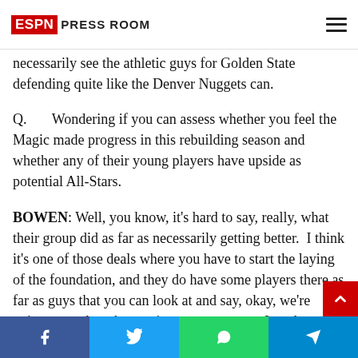ESPN Press Room
necessarily see the athletic guys for Golden State defending quite like the Denver Nuggets can.
Q.   Wondering if you can assess whether you feel the Magic made progress in this rebuilding season and whether any of their young players have upside as potential All-Stars.
BOWEN: Well, you know, it’s hard to say, really, what their group did as far as necessarily getting better.  I think it’s one of those deals where you have to start the laying of the foundation, and they do have some players there as far as guys that you can look at and say, okay, we’re going to see how he continues to progress.  In a day and age with young guys coming
Facebook Twitter WhatsApp Telegram